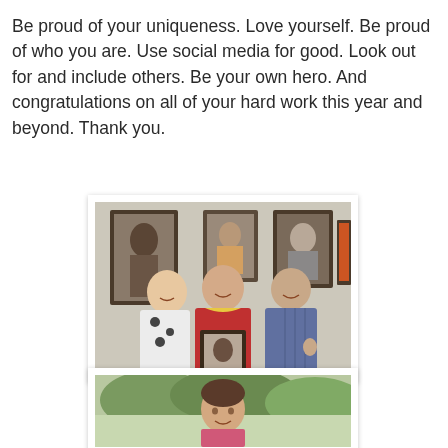Be proud of your uniqueness. Love yourself. Be proud of who you are. Use social media for good. Look out for and include others. Be your own hero. And congratulations on all of your hard work this year and beyond. Thank you.
[Figure (photo): Three people posing together in front of a wall displaying several framed portraits. The person in the center holds a framed portrait photograph.]
[Figure (photo): A woman standing outdoors with trees visible in the background, wearing a pink top.]